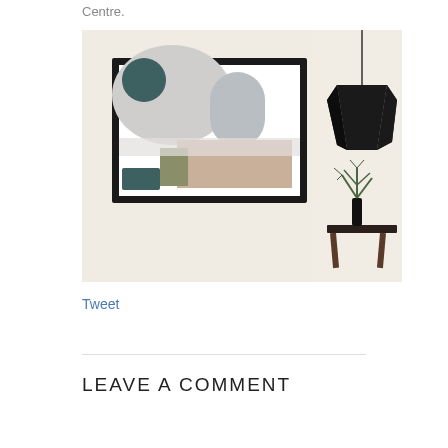Centre.
[Figure (photo): A framed abstract art print with geometric shapes in grey, teal, beige, and olive tones, hung on a white wall. To the right, a black origami-style pendant lamp hangs from the ceiling, and below it sits a small black vase with a plant on a dark stool.]
Tweet
LEAVE A COMMENT